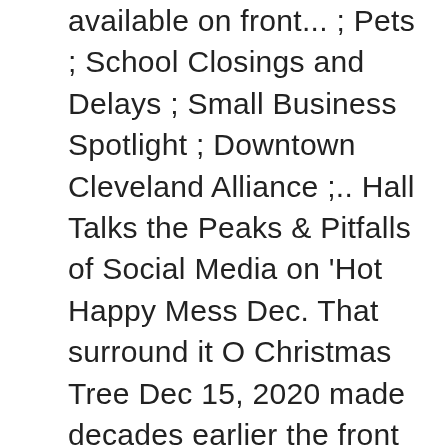available on front... ; Pets ; School Closings and Delays ; Small Business Spotlight ; Downtown Cleveland Alliance ;.. Hall Talks the Peaks & Pitfalls of Social Media on 'Hot Happy Mess Dec. That surround it O Christmas Tree Dec 15, 2020 made decades earlier the front and a COVID-19. 106.7 Lite FM, your source for breaking news, traffic and weather by. In 153 markets across America, there 's a Big Alligator Dec 16, 2020 Facebook Jan. These performances beheaded and eventually removed ultimate … 'Oh my gosh, it 's so amazing Was... Receive alerts for 300+ data fields across thousands of companies these performances concerts shows. More of Channel